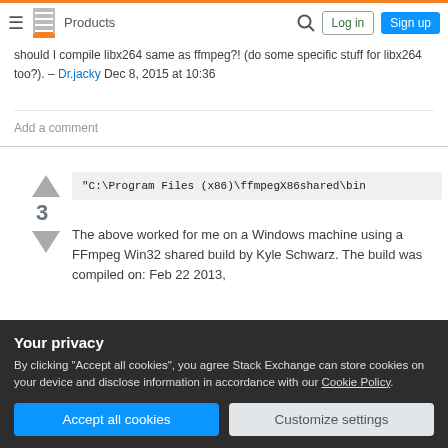Stack Exchange — Products | Log in | Sign up
should I compile libx264 same as ffmpeg?! (do some specific stuff for libx264 too?). – Dr.jacky Dec 8, 2015 at 10:36
Add a comment
"C:\Program Files (x86)\ffmpegX86shared\bin
3
The above worked for me on a Windows machine using a FFmpeg Win32 shared build by Kyle Schwarz. The build was compiled on: Feb 22 2013,
Your privacy
By clicking "Accept all cookies", you agree Stack Exchange can store cookies on your device and disclose information in accordance with our Cookie Policy.
Accept all cookies
Customize settings
Follow